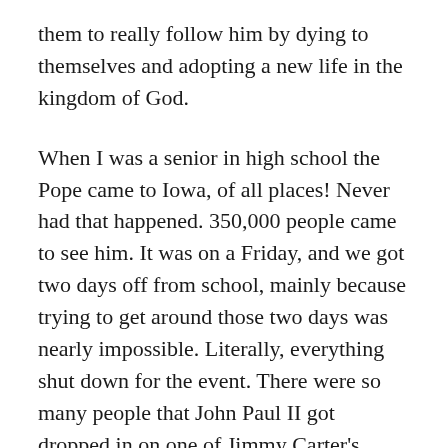them to really follow him by dying to themselves and adopting a new life in the kingdom of God.
When I was a senior in high school the Pope came to Iowa, of all places! Never had that happened. 350,000 people came to see him. It was on a Friday, and we got two days off from school, mainly because trying to get around those two days was nearly impossible. Literally, everything shut down for the event. There were so many people that John Paul II got dropped in on one of Jimmy Carter's presidential helicopters.